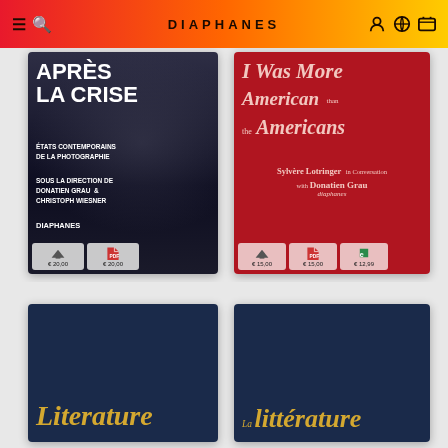DIAPHANES
[Figure (photo): Book cover: Après la Crise - États contemporains de la photographie, sous la direction de Donatien Grau & Christoph Wiesner, Diaphanes. Price buttons: €20,00 (print), €20,00 (PDF)]
[Figure (photo): Book cover: I Was More American than the Americans - Sylvère Lotringer in Conversation with Donatien Grau, diaphanes. Price buttons: €15,00 (print), €15,00 (PDF), €12,99 (ebook)]
[Figure (photo): Book cover: Literature (partial view), dark navy background with gold italic text]
[Figure (photo): Book cover: La littérature (partial view), dark navy background with gold italic text]